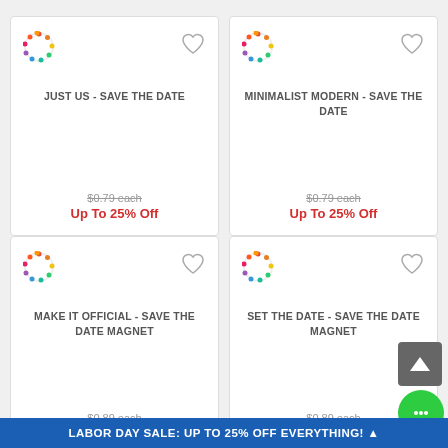[Figure (screenshot): Product card: JUST US - SAVE THE DATE, $0.79 each strikethrough, Up To 25% Off in red]
[Figure (screenshot): Product card: MINIMALIST MODERN - SAVE THE DATE, $0.79 each strikethrough, Up To 25% Off in red]
[Figure (screenshot): Product card: MAKE IT OFFICIAL - SAVE THE DATE MAGNET, $0.89 each strikethrough, Up To 25% Off in red]
[Figure (screenshot): Product card: SET THE DATE - SAVE THE DATE MAGNET, $0.89 each strikethrough, Up To 25% Off in red]
LABOR DAY SALE: UP TO 25% OFF EVERYTHING!